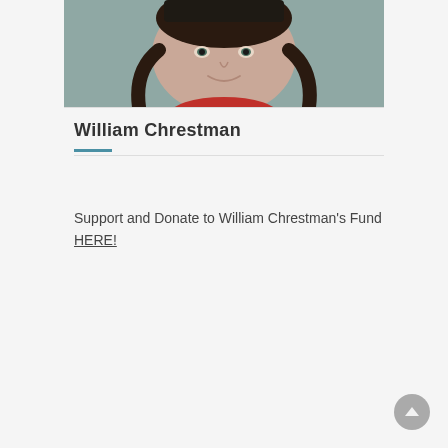[Figure (photo): Portrait photo of a young woman with braided hair, smiling, wearing a red top. Photo is cropped to show face and upper shoulders against a muted teal/gray background.]
William Chrestman
Support and Donate to William Chrestman's Fund HERE!